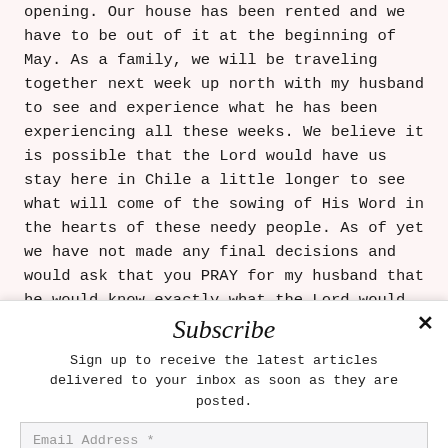opening.  Our house has been rented and we have to be out of it at the beginning of May.  As a family, we will be traveling together next week up north with my husband to see and experience what he has been experiencing all these weeks.  We believe it is possible that the Lord would have us stay here in Chile a little longer to see what will come of the sowing of His Word in the hearts of these needy people.  As of yet we have not made any final decisions and would ask that you PRAY for my husband that he would know exactly what the Lord would have him to do.
Subscribe
Sign up to receive the latest articles delivered to your inbox as soon as they are posted.
Email Address *